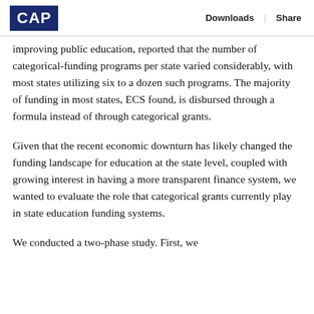CAP | Downloads | Share
improving public education, reported that the number of categorical-funding programs per state varied considerably, with most states utilizing six to a dozen such programs. The majority of funding in most states, ECS found, is disbursed through a formula instead of through categorical grants.
Given that the recent economic downturn has likely changed the funding landscape for education at the state level, coupled with growing interest in having a more transparent finance system, we wanted to evaluate the role that categorical grants currently play in state education funding systems.
We conducted a two-phase study. First, we